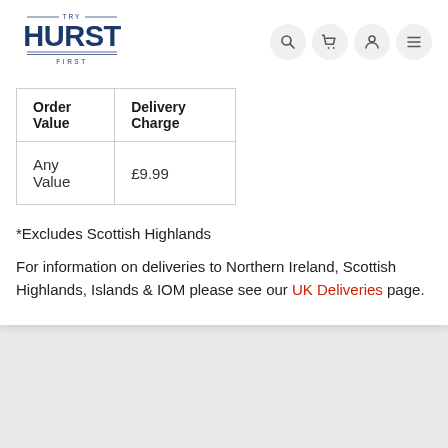[Figure (logo): Try Hurst First logo — bold navy HURST text with decorative lines and small serif TRY and FIRST text]
| Order Value | Delivery Charge |
| --- | --- |
| Any Value | £9.99 |
*Excludes Scottish Highlands
For information on deliveries to Northern Ireland, Scottish Highlands, Islands & IOM please see our UK Deliveries page.